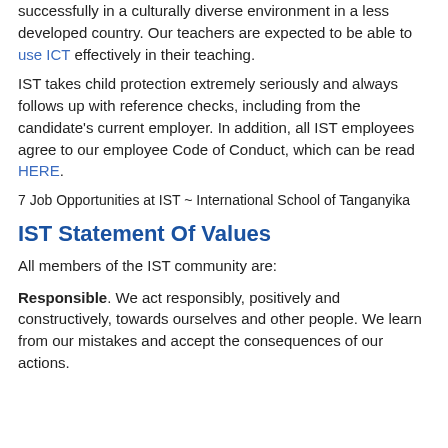successfully in a culturally diverse environment in a less developed country. Our teachers are expected to be able to use ICT effectively in their teaching.
IST takes child protection extremely seriously and always follows up with reference checks, including from the candidate's current employer. In addition, all IST employees agree to our employee Code of Conduct, which can be read HERE.
7 Job Opportunities at IST ~ International School of Tanganyika
IST Statement Of Values
All members of the IST community are:
Responsible. We act responsibly, positively and constructively, towards ourselves and other people. We learn from our mistakes and accept the consequences of our actions.